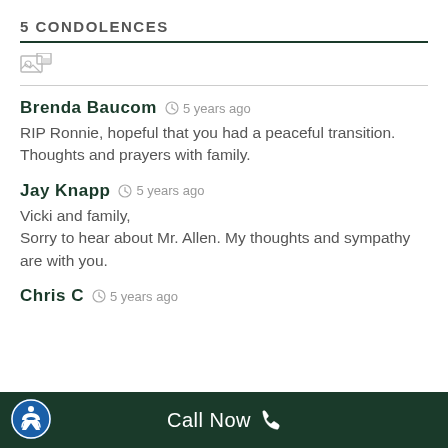5 CONDOLENCES
Brenda Baucom  5 years ago
RIP Ronnie, hopeful that you had a peaceful transition. Thoughts and prayers with family.
Jay Knapp  5 years ago
Vicki and family,
Sorry to hear about Mr. Allen. My thoughts and sympathy are with you.
Chris C  5 years ago
Call Now